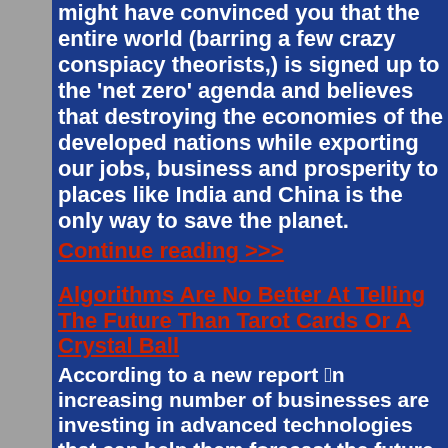might have convinced you that the entire world (barring a few crazy conspiacy theorists,) is signed up to the 'net zero' agenda and believes that destroying the economies of the developed nations while exporting our jobs, business and prosperity to places like India and China is the only way to save the planet.
Continue reading >>>
Algorithms Are No Better At Telling The Future Than Tarot Cards Or A Crystal Ball
According to a new report “An increasing number of businesses are investing in advanced technologies that can help them forecast the future of their